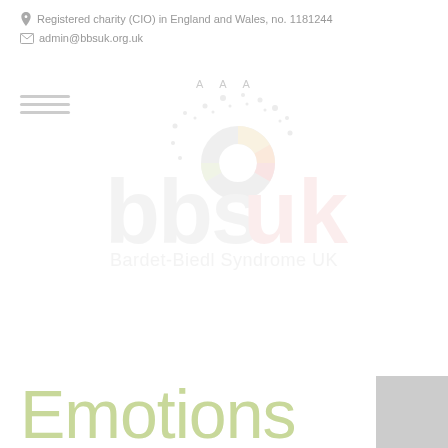Registered charity (CIO) in England and Wales, no. 1181244
admin@bbsuk.org.uk
[Figure (logo): BBS UK logo - Bardet-Biedl Syndrome UK with colorful donut/circle icon and scattered dots, shown in light gray watermark style]
Emotions